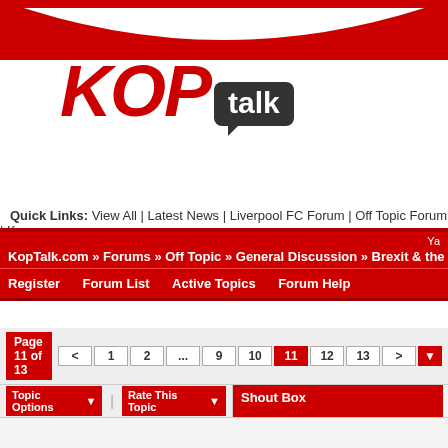[Figure (logo): KOPtalk logo — KOP in large red italic bold text, talk in white on dark grey rounded speech bubble]
Quick Links: View All | Latest News | Liverpool FC Forum | Off Topic Forum | Ko...
KopTalk.com » Forums » Off Topic » General Discussion » Brexit & the sunlit uplands
Register   Forum List     Active Topics   Forum Help
Page 11 of 13 < 1 2 ... 9 10 11 12 13 > ▼
Topic Options ▼   |   Rate This Topic ▼
Shout Box
#637679 - 30/03/21 12:34 PM
Re: Brexit & the sunlit uplands [Re: Stanley Park]
games with Mane in th... so I don't think that's a...
The Kop Prophet: City too